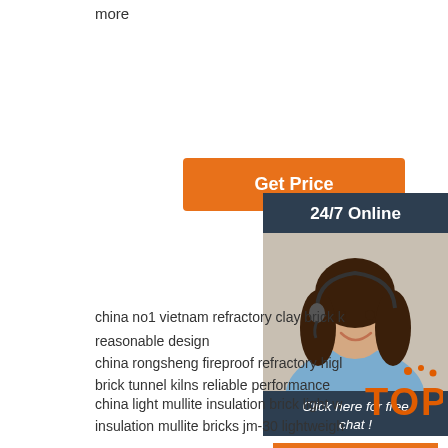more
[Figure (illustration): Orange 'Get Price' button]
[Figure (illustration): Sidebar with '24/7 Online' header, photo of woman with headset, 'Click here for free chat!' text, and orange 'QUOTATION' button]
china no1 vietnam refractory clay brick k reasonable design
china rongsheng fireproof refractory high brick tunnel kilns reliable performance
china light mullite insulation brick light w insulation mullite bricks jm-30 lightweigh insulation brick reasonable design
ethiopia dry pressed chamotte anchor b performance
ethiopia refractory azs insulation brick heavy duty insulation azs brick insulating azs brick reasonable design
ethiopia manufacturers carbon graphite electrode electric eaf reasonable design
ethiopia high strength mullite insulating brick